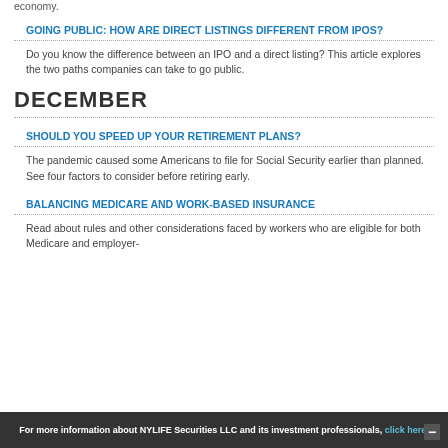economy.
GOING PUBLIC: HOW ARE DIRECT LISTINGS DIFFERENT FROM IPOS?
Do you know the difference between an IPO and a direct listing? This article explores the two paths companies can take to go public.
DECEMBER
SHOULD YOU SPEED UP YOUR RETIREMENT PLANS?
The pandemic caused some Americans to file for Social Security earlier than planned. See four factors to consider before retiring early.
BALANCING MEDICARE AND WORK-BASED INSURANCE
Read about rules and other considerations faced by workers who are eligible for both Medicare and employer-
For more information about NYLIFE Securities LLC and its investment professionals, click here.